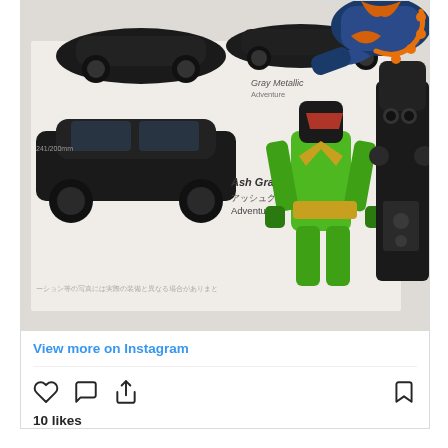[Figure (photo): Instagram post photo showing action figures (green and black Kamen Rider and blue figure) posed on top of a car catalog/brochure showing dark colored Honda vehicles. The brochure shows 'Ash Gray Metallic' and 'Gray Metallic' color options. Japanese text visible on the brochure.]
View more on Instagram
[Figure (other): Instagram action icons: heart (like), comment bubble, share/upload arrow on the left; bookmark on the right]
10 likes